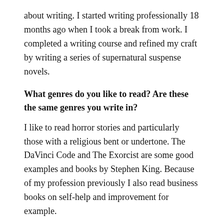about writing. I started writing professionally 18 months ago when I took a break from work. I completed a writing course and refined my craft by writing a series of supernatural suspense novels.
What genres do you like to read? Are these the same genres you write in?
I like to read horror stories and particularly those with a religious bent or undertone. The DaVinci Code and The Exorcist are some good examples and books by Stephen King. Because of my profession previously I also read business books on self-help and improvement for example.
Is your book for adults, young adults or children?
My books are for adults; however, I would categorize it as 'new adults' in terms of audience. Having said that